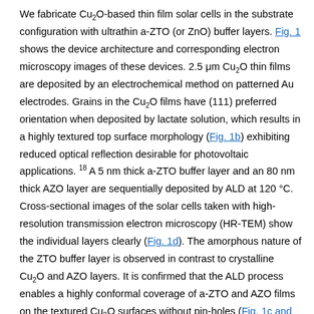We fabricate Cu₂O-based thin film solar cells in the substrate configuration with ultrathin a-ZTO (or ZnO) buffer layers. Fig. 1 shows the device architecture and corresponding electron microscopy images of these devices. 2.5 μm Cu₂O thin films are deposited by an electrochemical method on patterned Au electrodes. Grains in the Cu₂O films have (111) preferred orientation when deposited by lactate solution, which results in a highly textured top surface morphology (Fig. 1b) exhibiting reduced optical reflection desirable for photovoltaic applications. 18 A 5 nm thick a-ZTO buffer layer and an 80 nm thick AZO layer are sequentially deposited by ALD at 120 °C. Cross-sectional images of the solar cells taken with high-resolution transmission electron microscopy (HR-TEM) show the individual layers clearly (Fig. 1d). The amorphous nature of the ZTO buffer layer is observed in contrast to crystalline Cu₂O and AZO layers. It is confirmed that the ALD process enables a highly conformal coverage of a-ZTO and AZO films on the textured Cu₂O surfaces without pin-holes (Fig. 1c and d). The AZO films exhibit an electrical resistivity of 5.9 x 10⁻³ Ω cm. Al